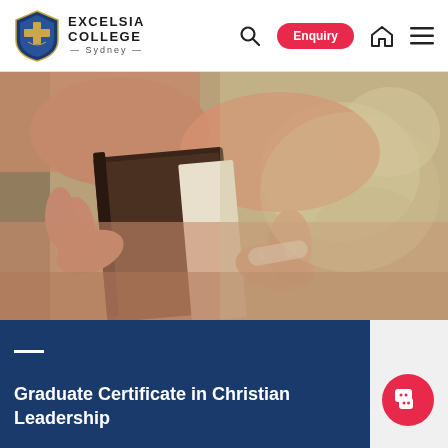Excelsia College Sydney — Navigation header with logo, search, Enquiry button, home icon, and menu icon
[Figure (photo): Close-up photo of a person's hands hugging a book (likely a Bible) against their chest, wearing a white watch bracelet. Background is blurred warm bokeh with earthy tones.]
Graduate Certificate in Christian Leadership